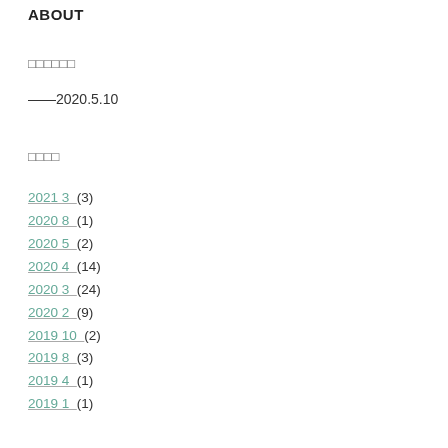ABOUT
□□□□□□
——2020.5.10
□□□□
2021 3  (3)
2020 8  (1)
2020 5  (2)
2020 4  (14)
2020 3  (24)
2020 2  (9)
2019 10  (2)
2019 8  (3)
2019 4  (1)
2019 1  (1)